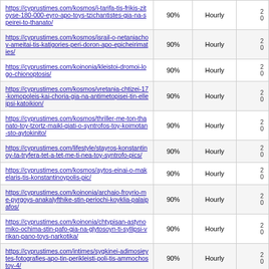| URL | % | Frequency |  |
| --- | --- | --- | --- |
| https://cyprustimes.com/kosmos/i-tarifa-tis-frikis-zitoyse-180-000-eyro-apo-toys-tzichantistes-gia-na-speirei-to-thanato/ | 90% | Hourly | 2
0 |
| https://cyprustimes.com/kosmos/israil-o-netaniachoy-ameitai-tis-katigories-peri-doron-apo-epicheirimaties/ | 90% | Hourly | 2
0 |
| https://cyprustimes.com/koinonia/kleistoi-dromoi-logo-chionoptosis/ | 90% | Hourly | 2
0 |
| https://cyprustimes.com/kosmos/vretania-chtizei-17-komopoleis-kai-choria-gia-na-antimetopisei-tin-elleipsi-katoikion/ | 90% | Hourly | 2
0 |
| https://cyprustimes.com/kosmos/thriller-me-ton-thanato-toy-tzortz-maikl-giati-o-syntrofos-toy-koimotan-sto-aytokinito/ | 90% | Hourly | 2
0 |
| https://cyprustimes.com/lifestyle/stayros-konstantinoy-ta-tryfera-tet-a-tet-me-ti-nea-toy-syntrofo-pics/ | 90% | Hourly | 2
0 |
| https://cyprustimes.com/kosmos/aytos-einai-o-makelaris-tis-konstantinoypolis-pic/ | 90% | Hourly | 2
0 |
| https://cyprustimes.com/koinonia/archaio-froyrio-me-pyrgoys-anakalyfthike-stin-periochi-koyklia-palaipafos/ | 90% | Hourly | 2
0 |
| https://cyprustimes.com/koinonia/chtypisan-astynomiko-ochima-stin-pafo-gia-na-glytosoyn-ti-syllipsi-vrikan-pano-toys-narkotika/ | 90% | Hourly | 2
0 |
| https://cyprustimes.com/intimes/sygkinei-adimosieytes-fotografies-apo-tin-perikleisti-poli-tis-ammochostoy-4/ | 90% | Hourly | 2
0 |
| https://cyprustimes.com/koinonia/oikogeneia-stin-pafo-kindyneyse-na-kaei-sto-ochima-apo-fotia/ | 90% | Hourly | 2
0 |